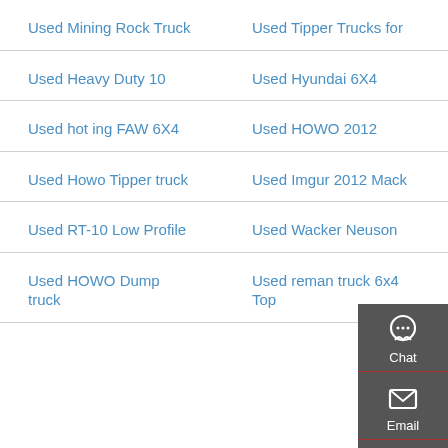Used Mining Rock Truck
Used Tipper Trucks for
Used Heavy Duty 10
Used Hyundai 6X4
Used hot ing FAW 6X4
Used HOWO 2012
Used Howo Tipper truck
Used Imgur 2012 Mack
Used RT-10 Low Profile
Used Wacker Neuson
Used HOWO Dump truck
Used reman truck 6x4 Top
[Figure (infographic): Sidebar widget with Chat, Email, Contact, and Top (scroll to top) buttons on dark grey background]